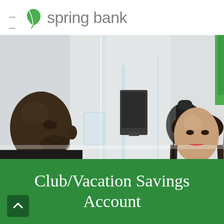spring bank
[Figure (photo): Two people at a bank counter — a bald Black man in a dark shirt speaking with a woman with long dark hair, separated by a clear acrylic divider screen, in a modern bank branch interior]
Club/Vacation Savings Account